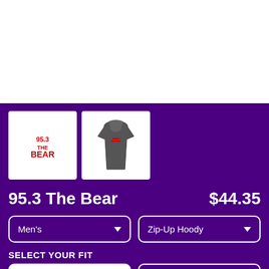[Figure (photo): White product image area at top (main product photo area, mostly white/blank)]
[Figure (photo): Thumbnail 1: 95.3 The Bear radio station logo in red and white text]
[Figure (photo): Thumbnail 2: Dark grey zip-up hoodie product photo]
95.3 The Bear
$44.35
Men's
Zip-Up Hoody
SELECT YOUR FIT
$44.35
French Terry
$55.68
Sponge Fleece